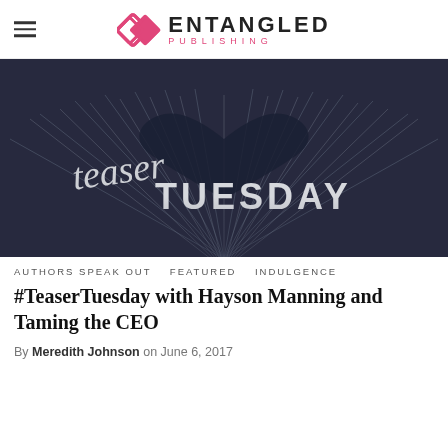ENTANGLED PUBLISHING
[Figure (illustration): Teaser Tuesday banner image: open book with pages folded into a heart shape, black and white photo with 'Teaser Tuesday' text overlaid in stylized white script and block letters]
AUTHORS SPEAK OUT   FEATURED   INDULGENCE
#TeaserTuesday with Hayson Manning and Taming the CEO
By Meredith Johnson on June 6, 2017